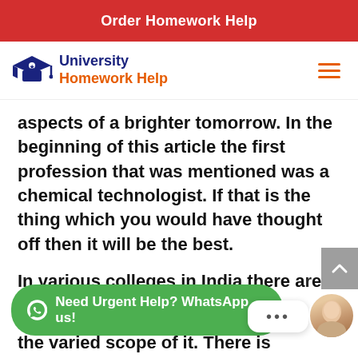Order Homework Help
[Figure (logo): University Homework Help logo with graduation cap icon, navy and orange text]
aspects of a brighter tomorrow. In the beginning of this article the first profession that was mentioned was a chemical technologist. If that is the thing which you would have thought off then it will be the best.
In various colleges in India there are opportunities of studying chemical engineering considering the varied scope of it. There is
[Figure (screenshot): WhatsApp help button overlay with green pill button reading 'Need Urgent Help? WhatsApp us!', a chat bubble with ellipsis, and a female avatar photo]